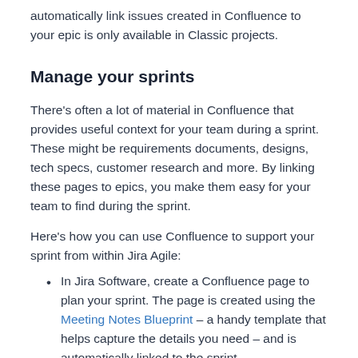automatically link issues created in Confluence to your epic is only available in Classic projects.
Manage your sprints
There's often a lot of material in Confluence that provides useful context for your team during a sprint. These might be requirements documents, designs, tech specs, customer research and more. By linking these pages to epics, you make them easy for your team to find during the sprint.
Here's how you can use Confluence to support your sprint from within Jira Agile:
In Jira Software, create a Confluence page to plan your sprint. The page is created using the Meeting Notes Blueprint – a handy template that helps capture the details you need – and is automatically linked to the sprint.
In an epic, link to useful Confluence pages, including requirements, designs, and more.